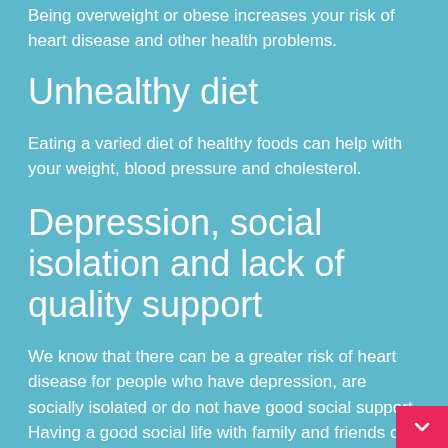Being overweight or obese increases your risk of heart disease and other health problems.
Unhealthy diet
Eating a varied diet of healthy foods can help with your weight, blood pressure and cholesterol.
Depression, social isolation and lack of quality support
We know that there can be a greater risk of heart disease for people who have depression, are socially isolated or do not have good social support. Having a good social life with family and friends can help. Depression is more than feeling sad or low. If you feel depressed for more than two weeks, talk to your doctor, a family member or someone you k…